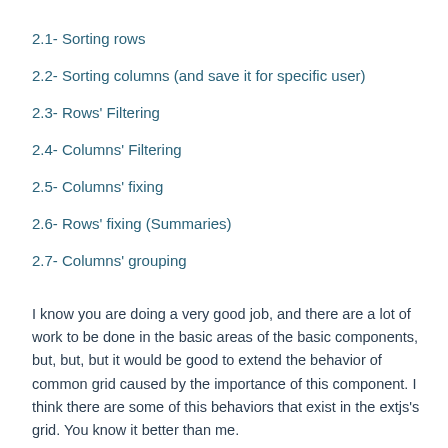2.1- Sorting rows
2.2- Sorting columns (and save it for specific user)
2.3- Rows' Filtering
2.4- Columns' Filtering
2.5- Columns' fixing
2.6- Rows' fixing (Summaries)
2.7- Columns' grouping
I know you are doing a very good job, and there are a lot of work to be done in the basic areas of the basic components, but, but, but it would be good to extend the behavior of common grid caused by the importance of this component. I think there are some of this behaviors that exist in the extjs's grid. You know it better than me.